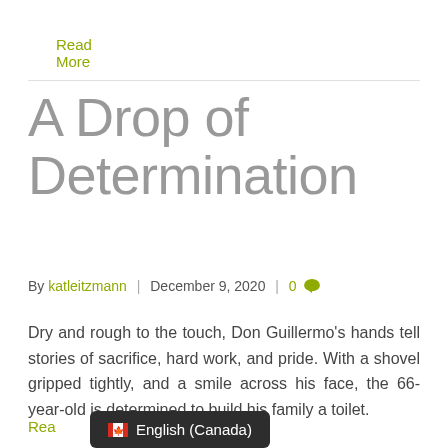Read More
A Drop of Determination
By katleitzmann | December 9, 2020 | 0
Dry and rough to the touch, Don Guillermo's hands tell stories of sacrifice, hard work, and pride. With a shovel gripped tightly, and a smile across his face, the 66-year-old is determined to build his family a toilet.
Read
English (Canada)